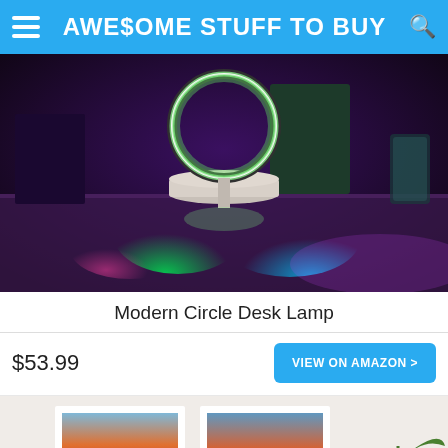AWE$OME STUFF TO BUY
[Figure (photo): Modern circle ring desk lamp glowing with RGB colors on a desk surface, casting green, pink, and blue light reflections on the tabletop. Dark purple ambient background.]
Modern Circle Desk Lamp
$53.99
VIEW ON AMAZON >
[Figure (photo): A room scene with two framed landscape art prints showing sunset/dusk colors, a small pink cylindrical lamp, and a green plant with long leaves on the right side.]